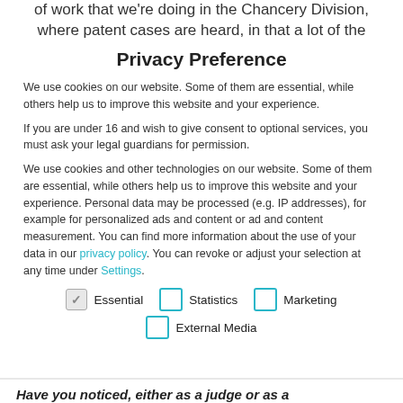of work that we're doing in the Chancery Division, where patent cases are heard, in that a lot of the
Privacy Preference
We use cookies on our website. Some of them are essential, while others help us to improve this website and your experience.
If you are under 16 and wish to give consent to optional services, you must ask your legal guardians for permission.
We use cookies and other technologies on our website. Some of them are essential, while others help us to improve this website and your experience. Personal data may be processed (e.g. IP addresses), for example for personalized ads and content or ad and content measurement. You can find more information about the use of your data in our privacy policy. You can revoke or adjust your selection at any time under Settings.
Essential (checked)
Statistics (unchecked)
Marketing (unchecked)
External Media (unchecked)
Have you noticed, either as a judge or as a